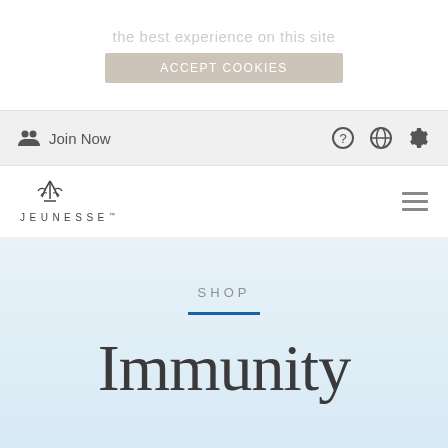the best experience on this site
ACCEPT COOKIES
Join Now
[Figure (logo): Jeunesse brand logo with stylized fountain/feather icon above the text JEUNESSE]
SHOP
Immunity